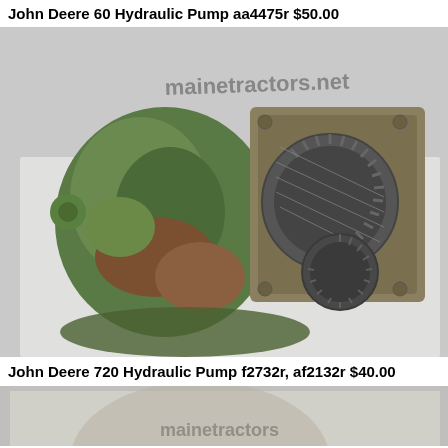John Deere 60 Hydraulic Pump aa4475r $50.00
[Figure (photo): Photo of a John Deere hydraulic pump with green cast iron body and exposed gear mechanism, shown against a white background with mainetractors.net watermark]
John Deere 720 Hydraulic Pump f2732r, af2132r $40.00
[Figure (photo): Partial photo of another John Deere hydraulic pump, cropped at bottom of page]